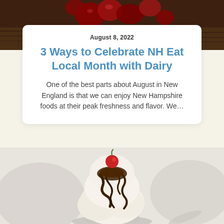[Figure (photo): Top partial food photo showing dark red berries or cherries on a wooden surface, partially cropped]
August 8, 2022
3 Ways to Celebrate NH Eat Local Month with Dairy
One of the best parts about August in New England is that we can enjoy New Hampshire foods at their peak freshness and flavor. We…
[Figure (photo): Ice cream sundae with chocolate fudge sauce drizzled over vanilla ice cream scoops, topped with a maraschino cherry, served in a glass dish]